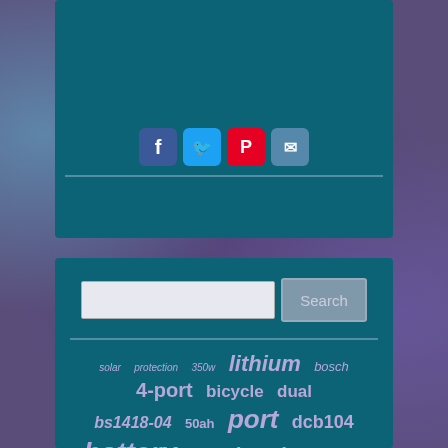[Figure (screenshot): Top section with teal background panel showing social share icons (Facebook, Twitter, Pinterest, Email) and a horizontal divider line]
[Figure (screenshot): Bottom search panel with teal background, search input box, Search button, horizontal divider, and a tag cloud of keywords related to batteries and chargers including: solar, protection, 350w, lithium, bosch, 4-port, bicycle, dual, bs1418-04, 50ah, port, dcb104, battery, 4port, dewalt, panel1, charger, multi, 144v18v, 144v, twin, 14v-18v, power, 10ah, tool, ports, charging, electric]